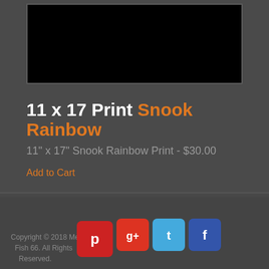[Figure (photo): Black image area at top of product page]
11 x 17 Print Snook Rainbow
11" x 17" Snook Rainbow Print - $30.00
Add to Cart
[Figure (infographic): Social media sharing icons: Pinterest, Google+, Twitter, Facebook]
Copyright © 2018 Metal Fish 66. All Rights Reserved.